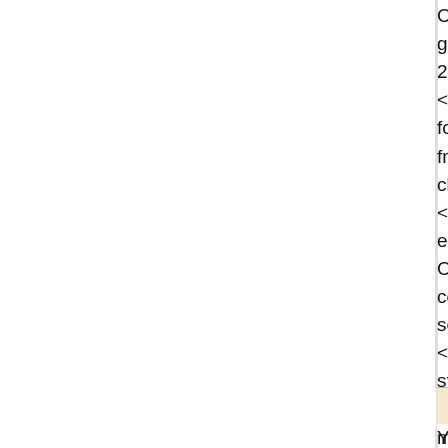Content engaging our readers now, with addi gaining attention. Our WSJ algorithm compris 20% email shares and 10% comments. <a href=" http://towandfarm.com/writing-from for dissertation</a> Google reported a profit from a year earlier and exceeding estimates. closing high of $924.69 on July 15. <a href=" http://www.teken-ing.nl/index.php/h essays</a> Dr Mark Jones, a GP at Bridge H Coastal CCG, said: "Anyone can get measles common in young children. Unfortunately, me serious complications. <a href=" http://www.tourismus-jura.ch/essay statement in a persuasive essay</a> "In a qu particulars about a firm's exposure to that ma materiality, that may not have been the case Barrington Parker wrote for a two-judge 2nd
☺ Razer22
Your cash is being counted <a href=" http://w ">making a good thesis statement for a resea </a> Top banks Santander and BBVA have s